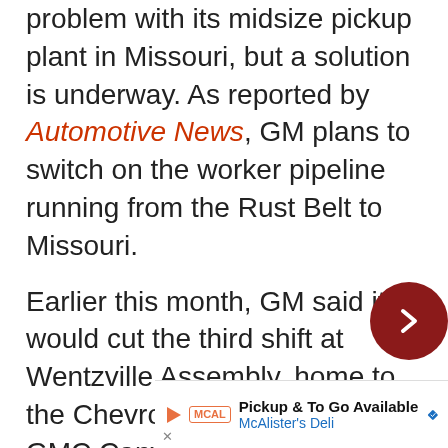problem with its midsize pickup plant in Missouri, but a solution is underway. As reported by Automotive News, GM plans to switch on the worker pipeline running from the Rust Belt to Missouri.
Earlier this month, GM said it would cut the third shift at Wentzville Assembly, home to the Chevrolet Colorado and GMC Canyon pickups, due to rising coronavirus cases in that state. The problem wasn't a lack of demand for the midsize duo; rather, absenteeism was, like up north, increasingly becoming a problem.
[Figure (other): Navigation arrow button - red circle with right chevron]
[Figure (other): Advertisement banner for McAlister's Deli - Pickup & To Go Available]